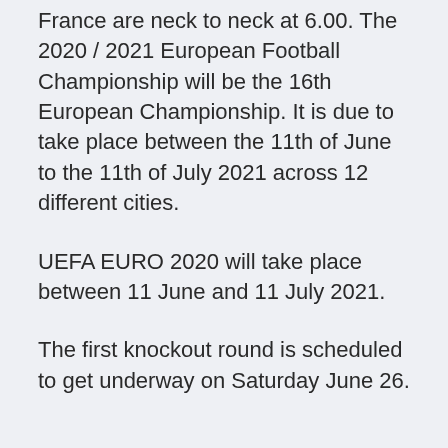France are neck to neck at 6.00. The 2020 / 2021 European Football Championship will be the 16th European Championship. It is due to take place between the 11th of June to the 11th of July 2021 across 12 different cities.
UEFA EURO 2020 will take place between 11 June and 11 July 2021.
The first knockout round is scheduled to get underway on Saturday June 26.